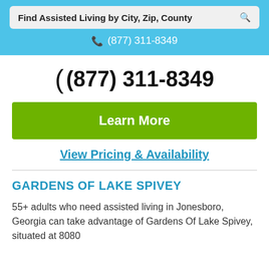Find Assisted Living by City, Zip, County
(877) 311-8349
(877) 311-8349
Learn More
View Pricing & Availability
GARDENS OF LAKE SPIVEY
55+ adults who need assisted living in Jonesboro, Georgia can take advantage of Gardens Of Lake Spivey, situated at 8080